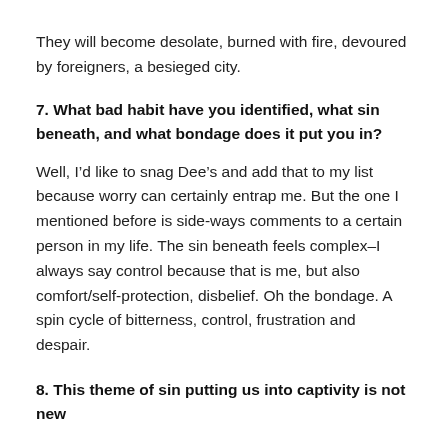They will become desolate, burned with fire, devoured by foreigners, a besieged city.
7. What bad habit have you identified, what sin beneath, and what bondage does it put you in?
Well, I’d like to snag Dee’s and add that to my list because worry can certainly entrap me. But the one I mentioned before is side-ways comments to a certain person in my life. The sin beneath feels complex–I always say control because that is me, but also comfort/self-protection, disbelief. Oh the bondage. A spin cycle of bitterness, control, frustration and despair.
8. This theme of sin putting us into captivity is not new